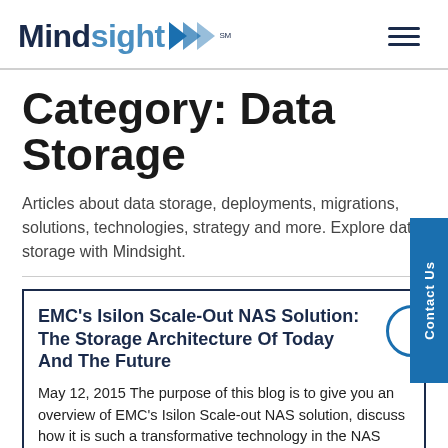Mindsight
Category: Data Storage
Articles about data storage, deployments, migrations, solutions, technologies, strategy and more. Explore data storage with Mindsight.
EMC's Isilon Scale-Out NAS Solution: The Storage Architecture Of Today And The Future
May 12, 2015 The purpose of this blog is to give you an overview of EMC's Isilon Scale-out NAS solution, discuss how it is such a transformative technology in the NAS space, and why it is important in today's day and age. Introduction to Isilon There have been a lot of changes in the [...]